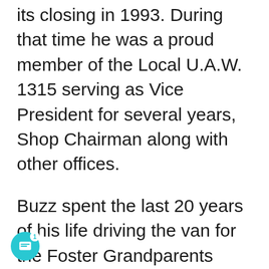its closing in 1993. During that time he was a proud member of the Local U.A.W. 1315 serving as Vice President for several years, Shop Chairman along with other offices.
Buzz spent the last 20 years of his life driving the van for the Foster Grandparents Program in Charles City. Everyone the family has spoken with says he was always making people laugh and up for all of their